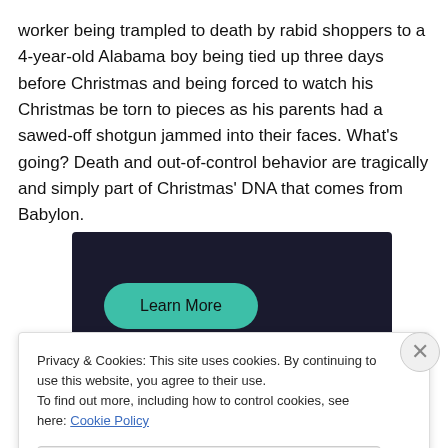worker being trampled to death by rabid shoppers to a 4-year-old Alabama boy being tied up three days before Christmas and being forced to watch his Christmas be torn to pieces as his parents had a sawed-off shotgun jammed into their faces. What's going? Death and out-of-control behavior are tragically and simply part of Christmas' DNA that comes from Babylon.
[Figure (other): Dark advertisement block with a teal 'Learn More' button]
Privacy & Cookies: This site uses cookies. By continuing to use this website, you agree to their use.
To find out more, including how to control cookies, see here: Cookie Policy
Close and accept